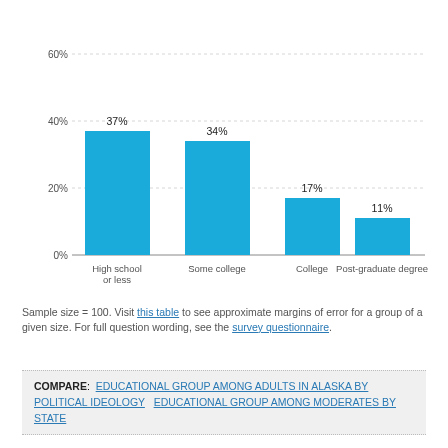[Figure (bar-chart): ]
Sample size = 100. Visit this table to see approximate margins of error for a group of a given size. For full question wording, see the survey questionnaire.
COMPARE: EDUCATIONAL GROUP AMONG ADULTS IN ALASKA BY POLITICAL IDEOLOGY   EDUCATIONAL GROUP AMONG MODERATES BY STATE